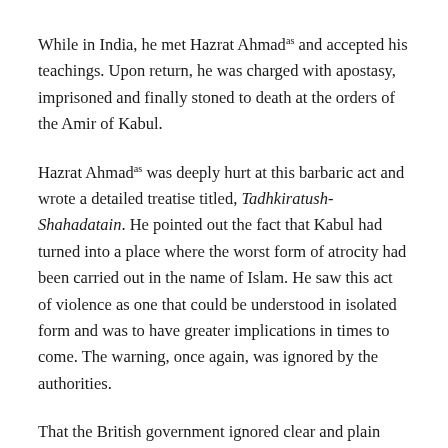While in India, he met Hazrat Ahmadas and accepted his teachings. Upon return, he was charged with apostasy, imprisoned and finally stoned to death at the orders of the Amir of Kabul.
Hazrat Ahmadas was deeply hurt at this barbaric act and wrote a detailed treatise titled, Tadhkiratush-Shahadatain. He pointed out the fact that Kabul had turned into a place where the worst form of atrocity had been carried out in the name of Islam. He saw this act of violence as one that could be understood in isolated form and was to have greater implications in times to come. The warning, once again, was ignored by the authorities.
That the British government ignored clear and plain warnings by Hazrat Ahmadas is not a claim without proof. After the publication of Tadhkiratush-Shahadatain, newspapers like Akhbar-i-Aam and the Civil and Military Gazette published excerpts in their